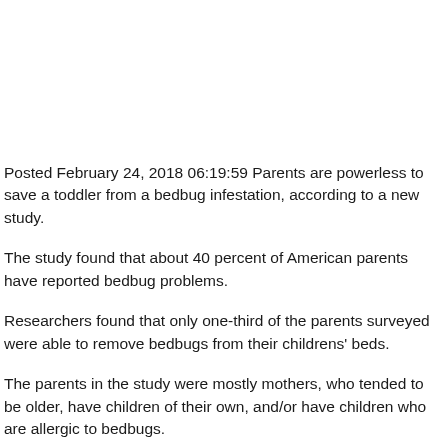Posted February 24, 2018 06:19:59 Parents are powerless to save a toddler from a bedbug infestation, according to a new study.
The study found that about 40 percent of American parents have reported bedbug problems.
Researchers found that only one-third of the parents surveyed were able to remove bedbugs from their childrens' beds.
The parents in the study were mostly mothers, who tended to be older, have children of their own, and/or have children who are allergic to bedbugs.
The research, published online by the Journal of Behavioral Medicine, also found that the majority of parents did not know how to prevent or treat the signs of bedbug bites.